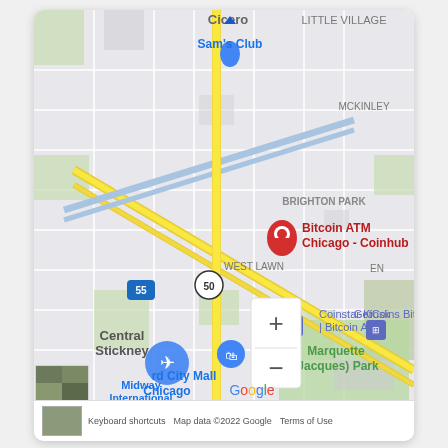[Figure (map): Google Maps screenshot showing area around Chicago Midway International Airport. A red pin marks 'Bitcoin ATM Chicago - Coinhub' in Brighton Park area. Other markers: Sam's Club (blue), Coinstar Kiosk | Bitcoin ATM, GetCoins Bitcoin ATM, Chicago Midway International Airport with airplane icon. Roads including I-55, Route 50 visible. Neighborhoods: Cicero, Little Village, McKinley, Brighton Park, Central Stickney, West Lawn. Google logo, zoom controls (+/-), and map thumbnail visible. Footer: Keyboard shortcuts, Map data ©2022 Google, Terms of Use.]